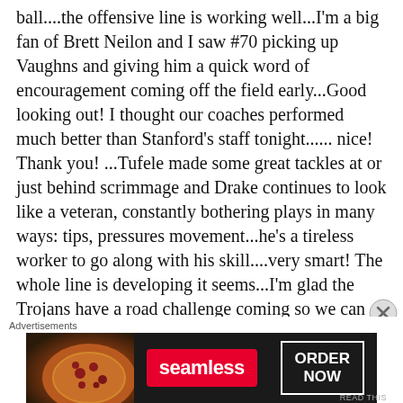ball....the offensive line is working well...I'm a big fan of Brett Neilon and I saw #70 picking up Vaughns and giving him a quick word of encouragement coming off the field early...Good looking out! I thought our coaches performed much better than Stanford's staff tonight...... nice! Thank you! ...Tufele made some great tackles at or just behind scrimmage and Drake continues to look like a veteran, constantly bothering plays in many ways: tips, pressures movement...he's a tireless worker to go along with his skill....very smart! The whole line is developing it seems...I'm glad the Trojans have a road challenge coming so we can see further verification... Kedon looked good...he got stronger as the game progressed...he did throw some ropes, especially in the second half...keep it going anywhere near that, and the rest can do the job... it'll be interesting to see how far
Advertisements
[Figure (infographic): Seamless food delivery advertisement banner with pizza image on left, red Seamless logo in center, and 'ORDER NOW' button on right, on dark background.]